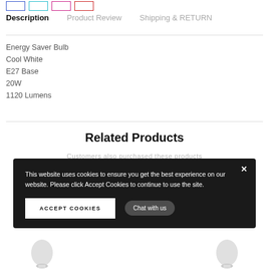[Figure (other): Color swatches: blue, cyan, pink, red]
Description  Product Review  Shipping & RETURN
Energy Saver Bulb
Cool White
E27 Base
20W
1120 Lumens
Related Products
Customers also purchased these products
This website uses cookies to ensure you get the best experience on our website. Please click Accept Cookies to continue to use the site.
ACCEPT COOKIES
Chat with us